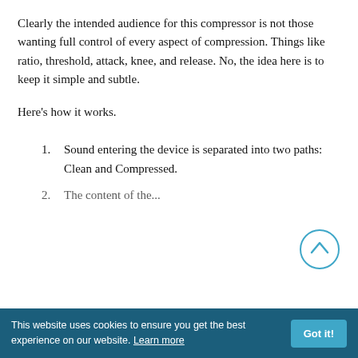Clearly the intended audience for this compressor is not those wanting full control of every aspect of compression. Things like ratio, threshold, attack, knee, and release. No, the idea here is to keep it simple and subtle.
Here's how it works.
Sound entering the device is separated into two paths: Clean and Compressed.
The amount of optical
This website uses cookies to ensure you get the best experience on our website. Learn more  Got it!